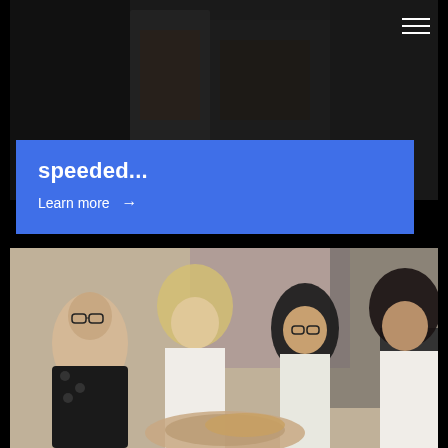[Figure (photo): Partially visible room/artwork scene in background behind blue card overlay at top of page]
speeded...
Learn more →
[Figure (photo): Group of four people (diverse, smiling) stacking hands together in a team gesture, indoors with colorful wall art in background]